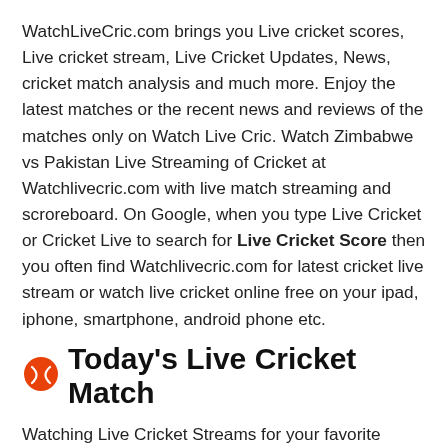WatchLiveCric.com brings you Live cricket scores, Live cricket stream, Live Cricket Updates, News, cricket match analysis and much more. Enjoy the latest matches or the recent news and reviews of the matches only on Watch Live Cric. Watch Zimbabwe vs Pakistan Live Streaming of Cricket at Watchlivecric.com with live match streaming and scroreboard. On Google, when you type Live Cricket or Cricket Live to search for Live Cricket Score then you often find Watchlivecric.com for latest cricket live stream or watch live cricket online free on your ipad, iphone, smartphone, android phone etc.
Today's Live Cricket Match
Watching Live Cricket Streams for your favorite games can be a little tricky over the internet as there are several clickbait sites and fake stream sites which never gives you access to the actual live streams. Enjoy Pakistan cricket team live